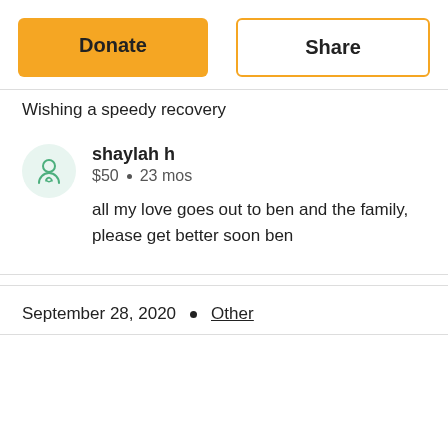[Figure (other): Two buttons: orange 'Donate' button and white 'Share' button with orange border]
Wishing a speedy recovery
shaylah h
$50 • 23 mos
all my love goes out to ben and the family, please get better soon ben
September 28, 2020 • Other